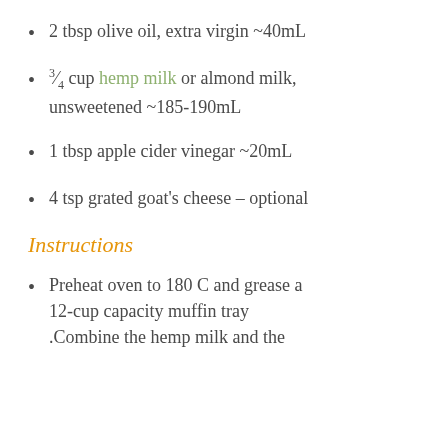2 tbsp olive oil, extra virgin ~40mL
¾ cup hemp milk or almond milk, unsweetened ~185-190mL
1 tbsp apple cider vinegar ~20mL
4 tsp grated goat's cheese – optional
Instructions
Preheat oven to 180 C and grease a 12-cup capacity muffin tray .Combine the hemp milk and the